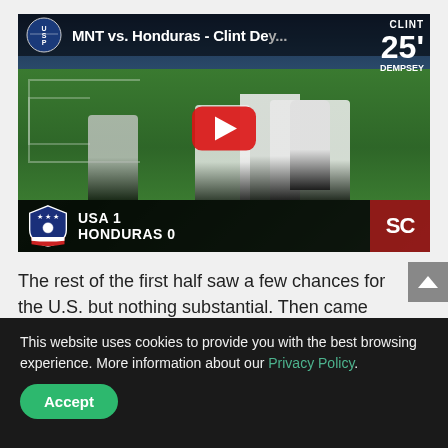[Figure (screenshot): YouTube video thumbnail showing MNT vs. Honduras - Clint Dey... with USA logo, players celebrating on soccer field, red YouTube play button, score overlay showing USA 1 HONDURAS 0, and CLINT 25' overlay in top right corner]
The rest of the first half saw a few chances for the U.S. but nothing substantial. Then came the
This website uses cookies to provide you with the best browsing experience. More information about our Privacy Policy.
Accept